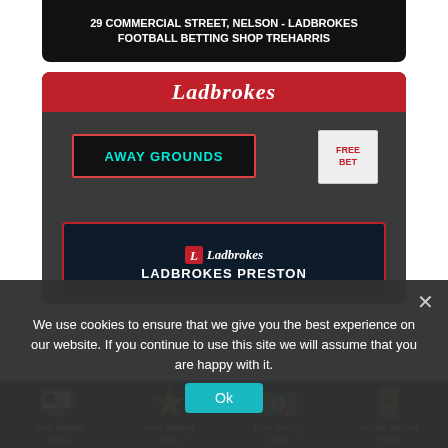[Figure (photo): Black card with text: 29 COMMERCIAL STREET, NELSON - LADBROKES FOOTBALL BETTING SHOP TREHARRIS]
29 COMMERCIAL STREET, NELSON - LADBROKES FOOTBALL BETTING SHOP TREHARRIS
[Figure (photo): Ladbrokes betting shop storefront with red banner, AWAY GROUNDS neon sign, FREE BET poster, and LADBROKES PRESTON info panel]
We use cookies to ensure that we give you the best experience on our website. If you continue to use this site we will assume that you are happy with it.
Best Betting Sites
New Betting Sites
Free Betting Sites
Mobile Betting Sites